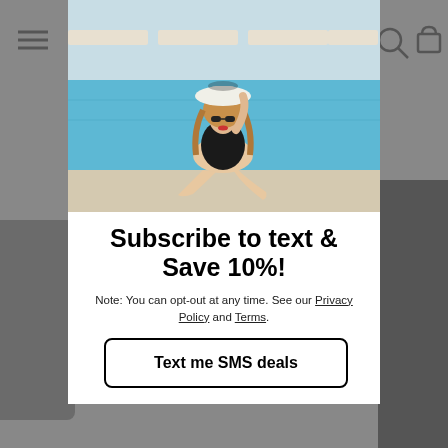[Figure (photo): Website screenshot showing a modal popup over a shopping website. Background shows grey product photos. Modal contains a poolside photo of a woman in a black swimsuit wearing sunglasses and a white hat, sitting by a blue pool.]
Subscribe to text & Save 10%!
Note: You can opt-out at any time. See our Privacy Policy and Terms.
Text me SMS deals